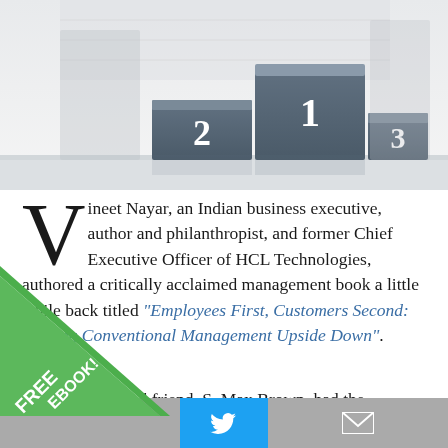[Figure (illustration): A podium with three platforms numbered 1 (center, tallest), 2 (left, medium), and 3 (right, shorter), set against a blurred indoor background.]
Vineet Nayar, an Indian business executive, author and philanthropist, and former Chief Executive Officer of HCL Technologies, authored a critically acclaimed management book a little while back titled “Employees First, Customers Second: Turning Conventional Management Upside Down”.
My colleague and friend, S. Max Brown, had the opportunity to interview Vineet Nayar in Delhi, India for our former net radio show, Real Recognition Radio.
[Figure (illustration): Green diagonal ribbon/banner in the bottom-left corner with text FREE EBOOK!]
[Figure (other): Bottom share bar with Twitter (blue) and email (grey) icons.]